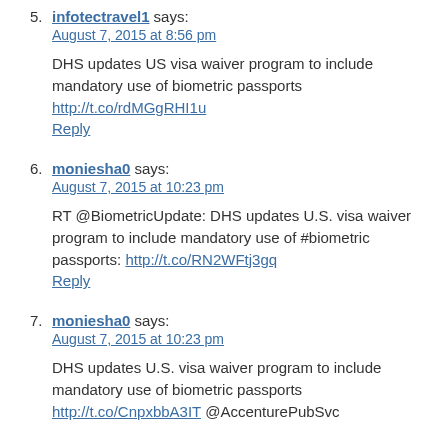5. infotectravel1 says:
August 7, 2015 at 8:56 pm

DHS updates US visa waiver program to include mandatory use of biometric passports
http://t.co/rdMGgRHI1u
Reply
6. moniesha0 says:
August 7, 2015 at 10:23 pm

RT @BiometricUpdate: DHS updates U.S. visa waiver program to include mandatory use of #biometric passports: http://t.co/RN2WFtj3gq
Reply
7. moniesha0 says:
August 7, 2015 at 10:23 pm

DHS updates U.S. visa waiver program to include mandatory use of biometric passports
http://t.co/CnpxbbA3IT @AccenturePubSvc